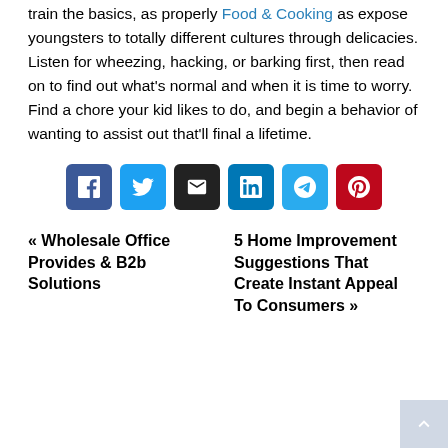train the basics, as properly Food & Cooking as expose youngsters to totally different cultures through delicacies. Listen for wheezing, hacking, or barking first, then read on to find out what's normal and when it is time to worry. Find a chore your kid likes to do, and begin a behavior of wanting to assist out that'll final a lifetime.
[Figure (infographic): Row of 6 social share buttons: Facebook (dark blue), Twitter (light blue), Email (black), LinkedIn (teal-blue), Telegram (light blue), Pinterest (red)]
« Wholesale Office Provides & B2b Solutions
5 Home Improvement Suggestions That Create Instant Appeal To Consumers »